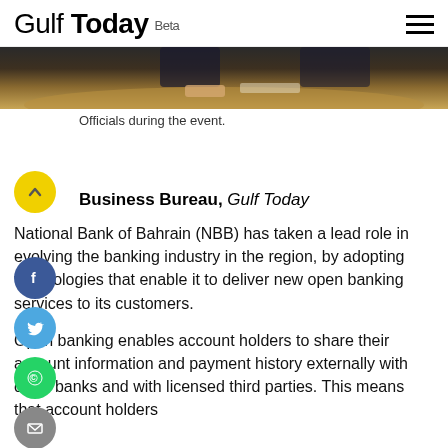Gulf Today Beta
[Figure (photo): Officials seated around a table during a banking event, partial view showing hands and table surface.]
Officials during the event.
Business Bureau, Gulf Today
National Bank of Bahrain (NBB) has taken a lead role in evolving the banking industry in the region, by adopting technologies that enable it to deliver new open banking services to its customers.
Open banking enables account holders to share their account information and payment history externally with other banks and with licensed third parties. This means that account holders